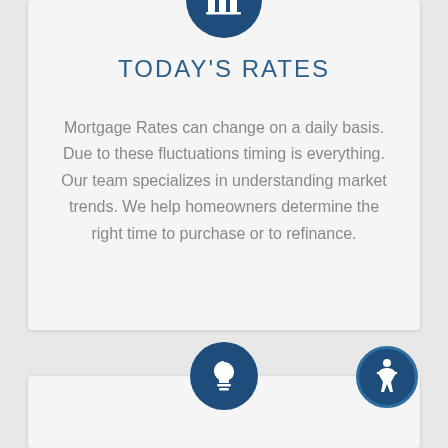[Figure (illustration): Dark navy blue circle icon with a bar chart / building columns symbol inside, centered at the top of the first card]
TODAY'S RATES
Mortgage Rates can change on a daily basis. Due to these fluctuations timing is everything. Our team specializes in understanding market trends. We help homeowners determine the right time to purchase or to refinance.
[Figure (illustration): Dark navy blue circle icon with a lightbulb symbol inside, centered at the top of the second card]
[Figure (illustration): Dark navy blue circle icon with an accessibility/person symbol inside, positioned at the bottom right]